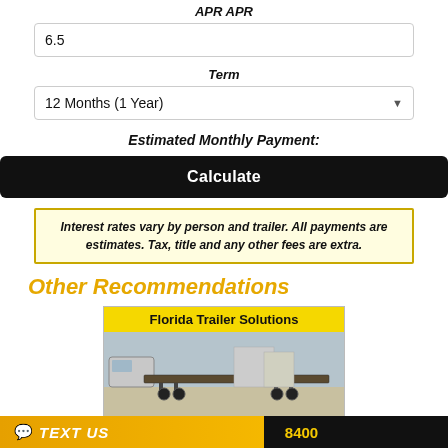APR APR
6.5
Term
12 Months (1 Year)
Estimated Monthly Payment:
Calculate
Interest rates vary by person and trailer. All payments are estimates. Tax, title and any other fees are extra.
Other Recommendations
[Figure (photo): Florida Trailer Solutions product card showing a flatbed/lowboy trailer image with yellow header banner]
TEXT US